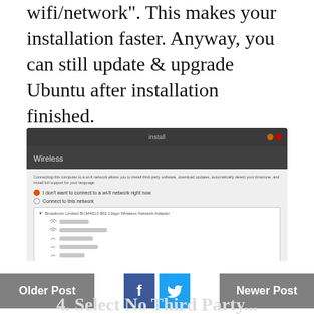wifi/network". This makes your installation faster. Anyway, you can still update & upgrade Ubuntu after installation finished.
[Figure (screenshot): Ubuntu installer screenshot showing the Wireless network step. A dialog titled 'Install' with section 'Wireless'. Options: 'I don't want to connect to a wi-fi network right now' (selected) and 'Connect to this network'. A list shows Broadcom Limited BCM4313 802.11bgn Wireless Network Adapter with several blurred network names. Buttons: Quit, Back, Continue. Bottom dark bar with navigation dots (7 dots, first few orange, rest gray).]
Third Step
Older Post
Newer Post